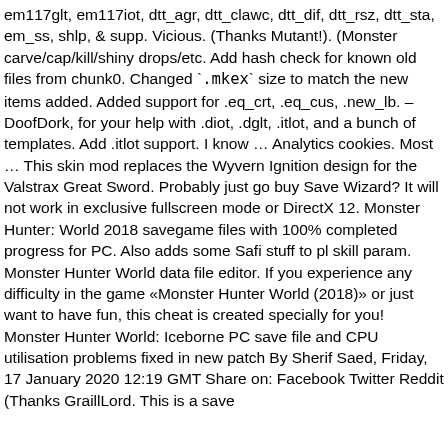em117glt, em117iot, dtt_agr, dtt_clawc, dtt_dif, dtt_rsz, dtt_sta, em_ss, shlp, & supp. Vicious. (Thanks Mutant!). (Monster carve/cap/kill/shiny drops/etc. Add hash check for known old files from chunk0. Changed `.mkex` size to match the new items added. Added support for .eq_crt, .eq_cus, .new_lb. – DoofDork, for your help with .diot, .dglt, .itlot, and a bunch of templates. Add .itlot support. I know … Analytics cookies. Most … This skin mod replaces the Wyvern Ignition design for the Valstrax Great Sword. Probably just go buy Save Wizard? It will not work in exclusive fullscreen mode or DirectX 12. Monster Hunter: World 2018 savegame files with 100% completed progress for PC. Also adds some Safi stuff to pl skill param. Monster Hunter World data file editor. If you experience any difficulty in the game «Monster Hunter World (2018)» or just want to have fun, this cheat is created specially for you! Monster Hunter World: Iceborne PC save file and CPU utilisation problems fixed in new patch By Sherif Saed, Friday, 17 January 2020 12:19 GMT Share on: Facebook Twitter Reddit (Thanks GraillLord. This is a save